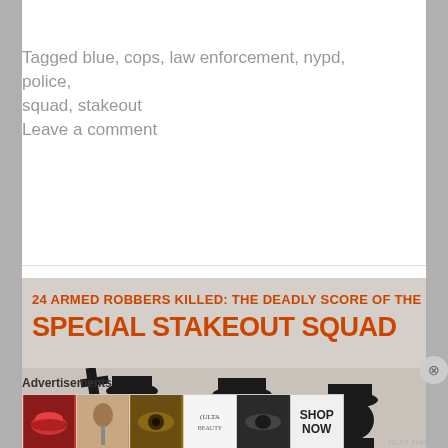REPORT THIS AD
Tagged blue, cops, law enforcement, nypd, police, squad, stakeout
Leave a comment
[Figure (photo): Magazine article image showing silhouettes of police officers with headline: '24 ARMED ROBBERS KILLED: THE DEADLY SCORE OF THE SPECIAL STAKEOUT SQUAD' in orange text on a grey background]
Advertisements
[Figure (photo): Ulta Beauty advertisement banner showing makeup product images including lips, brush, eye, Ulta logo, and 'SHOP NOW' text]